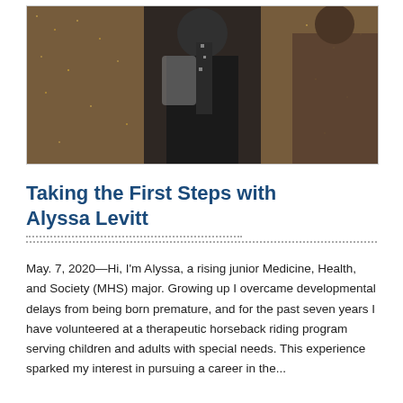[Figure (photo): A person standing in front of a shimmery gold/brown curtain backdrop, wearing a dark outfit with a sparkly scarf or accessory. Partial view of another person in brown jacket on the right.]
Taking the First Steps with Alyssa Levitt
May. 7, 2020—Hi, I'm Alyssa, a rising junior Medicine, Health, and Society (MHS) major. Growing up I overcame developmental delays from being born premature, and for the past seven years I have volunteered at a therapeutic horseback riding program serving children and adults with special needs. This experience sparked my interest in pursuing a career in the...